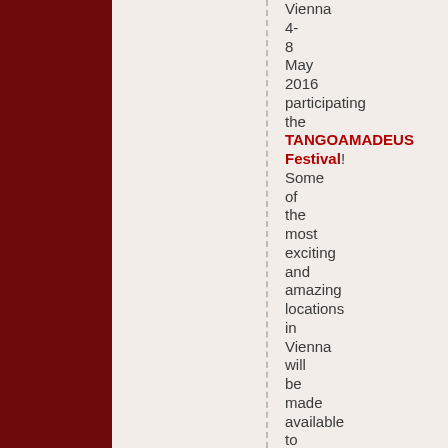Vienna 4- 8 May 2016 participating the TANGOAMADEUS Festival! Some of the most exciting and amazing locations in Vienna will be made available to you to tango the night away! We will